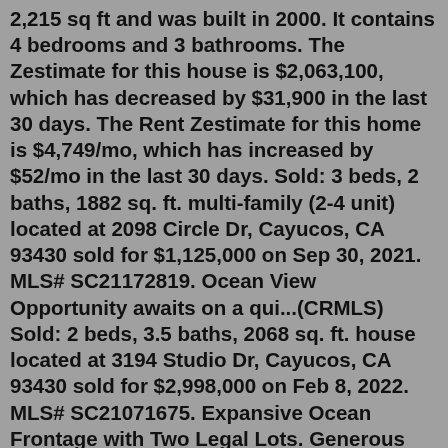2,215 sq ft and was built in 2000. It contains 4 bedrooms and 3 bathrooms. The Zestimate for this house is $2,063,100, which has decreased by $31,900 in the last 30 days. The Rent Zestimate for this home is $4,749/mo, which has increased by $52/mo in the last 30 days. Sold: 3 beds, 2 baths, 1882 sq. ft. multi-family (2-4 unit) located at 2098 Circle Dr, Cayucos, CA 93430 sold for $1,125,000 on Sep 30, 2021. MLS# SC21172819. Ocean View Opportunity awaits on a qui...(CRMLS) Sold: 2 beds, 3.5 baths, 2068 sq. ft. house located at 3194 Studio Dr, Cayucos, CA 93430 sold for $2,998,000 on Feb 8, 2022. MLS# SC21071675. Expansive Ocean Frontage with Two Legal Lots. Generous ...Search for real estate in California with Dale Kaiser Real Estate. Buy or sell homes, see your home value, and view listings in the California area. We help families own and market all aspects of real estate; from ranches to Cayucos homes and San Luis Obispo County beachfront properties.Joe Clark has been a licensed real estate broker and li...